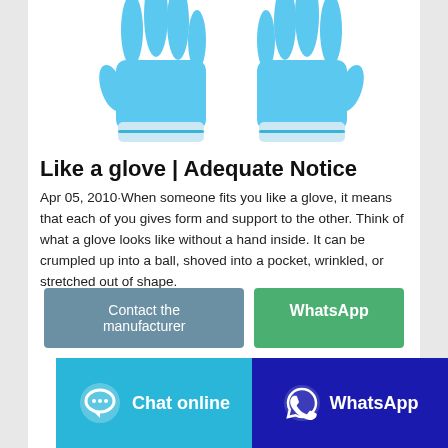[Figure (photo): Two blue nitrile/latex gloves side by side on white background, fingers pointing upward]
Like a glove | Adequate Notice
Apr 05, 2010·When someone fits you like a glove, it means that each of you gives form and support to the other. Think of what a glove looks like without a hand inside. It can be crumpled up into a ball, shoved into a pocket, wrinkled, or stretched out of shape.
Contact the manufacturer
WhatsApp
Chat online
WhatsApp